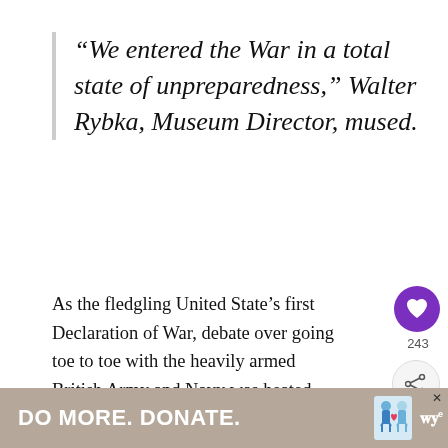“We entered the War in a total state of unpreparedness,” Walter Rybka, Museum Director, mused.
As the fledgling United State’s first Declaration of War, debate over going toe to toe with the heavily armed British Army and Navy was heated, garnering the largest number of votes of dissent ever on record (40%).
Check out the graphic poster that asks the qu…an
[Figure (other): Social interaction UI overlay: purple heart/like button with count 243, share button, WHAT'S NEXT panel with thumbnail image showing Mifflinburg-Lewisburg P...]
[Figure (other): Banner advertisement with tan/beige background reading 'DO MORE. DONATE.' with two small portrait illustrations and a close button, WW logo at right.]